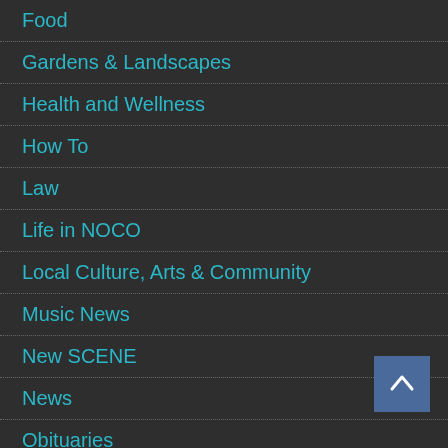Food
Gardens & Landscapes
Health and Wellness
How To
Law
Life in NOCO
Local Culture, Arts & Community
Music News
New SCENE
News
Obituaries
Outdoors
Politics
Radio